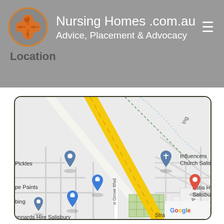Nursing Homes .com.au
Advice, Placement & Advocacy
Location
[Figure (map): Google Maps screenshot showing Salisbury East area in Australia. Visible landmarks include Influencers Church Salisbury, Estia Health Salisbury East, Pickles, pe Paints, Ennards Hire Salisbury, with streets including Strathpine St, Birch Ave, Grove Blvd, and a major yellow highway running diagonally.]